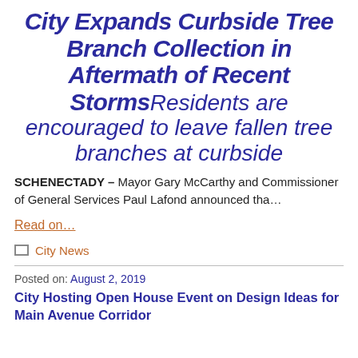City Expands Curbside Tree Branch Collection in Aftermath of Recent StormsResidents are encouraged to leave fallen tree branches at curbside
SCHENECTADY – Mayor Gary McCarthy and Commissioner of General Services Paul Lafond announced tha…
Read on…
City News
Posted on: August 2, 2019
City Hosting Open House Event on Design Ideas for Main Avenue Corridor